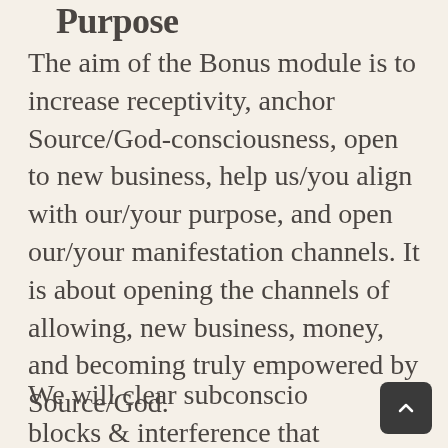Purpose
The aim of the Bonus module is to increase receptivity, anchor Source/God-consciousness, open to new business, help us/you align with our/your purpose, and open our/your manifestation channels. It is about opening the channels of allowing, new business, money, and becoming truly empowered by Source/God.
We will clear subconscious blocks & interference that